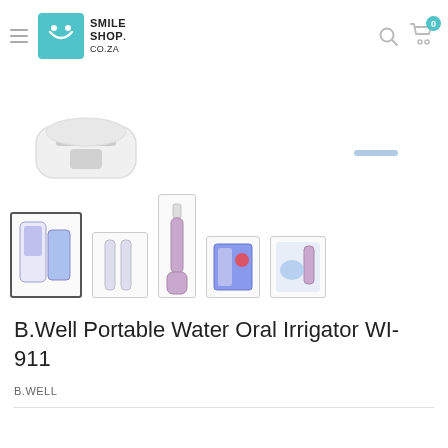Smile Shop CO.ZA - navigation header with hamburger menu, logo, search and cart icons
[Figure (photo): Main product image showing base/reservoir of B.Well Portable Water Oral Irrigator WI-911, white device]
[Figure (photo): Five thumbnail images of the B.Well WI-911 oral irrigator: product box, two irrigator units, pink irrigator, packaging, and usage photo]
B.Well Portable Water Oral Irrigator WI-911
B.WELL